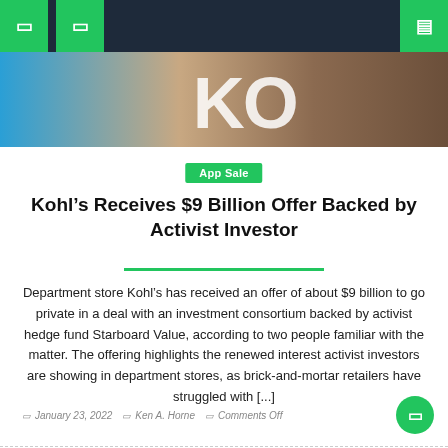Nav bar with menu icons
[Figure (photo): Partial photo of Kohl's store signage with blue sky and brown/tan background]
App Sale
Kohl’s Receives $9 Billion Offer Backed by Activist Investor
Department store Kohl’s has received an offer of about $9 billion to go private in a deal with an investment consortium backed by activist hedge fund Starboard Value, according to two people familiar with the matter. The offering highlights the renewed interest activist investors are showing in department stores, as brick-and-mortar retailers have struggled with [...]
January 23, 2022  Ken A. Horne  Comments Off